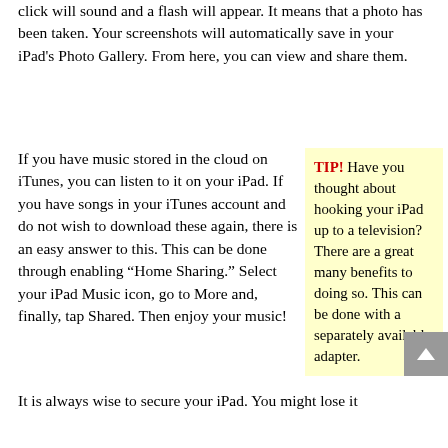click will sound and a flash will appear. It means that a photo has been taken. Your screenshots will automatically save in your iPad's Photo Gallery. From here, you can view and share them.
If you have music stored in the cloud on iTunes, you can listen to it on your iPad. If you have songs in your iTunes account and do not wish to download these again, there is an easy answer to this. This can be done through enabling “Home Sharing.” Select your iPad Music icon, go to More and, finally, tap Shared. Then enjoy your music!
TIP! Have you thought about hooking your iPad up to a television? There are a great many benefits to doing so. This can be done with a separately available adapter.
It is always wise to secure your iPad. You might lose it